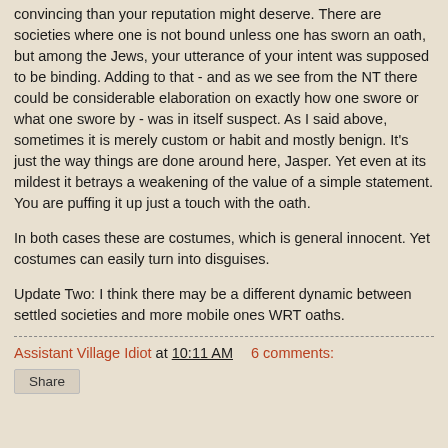convincing than your reputation might deserve. There are societies where one is not bound unless one has sworn an oath, but among the Jews, your utterance of your intent was supposed to be binding. Adding to that - and as we see from the NT there could be considerable elaboration on exactly how one swore or what one swore by - was in itself suspect. As I said above, sometimes it is merely custom or habit and mostly benign. It's just the way things are done around here, Jasper. Yet even at its mildest it betrays a weakening of the value of a simple statement. You are puffing it up just a touch with the oath.
In both cases these are costumes, which is general innocent. Yet costumes can easily turn into disguises.
Update Two: I think there may be a different dynamic between settled societies and more mobile ones WRT oaths.
Assistant Village Idiot at 10:11 AM    6 comments:
Share